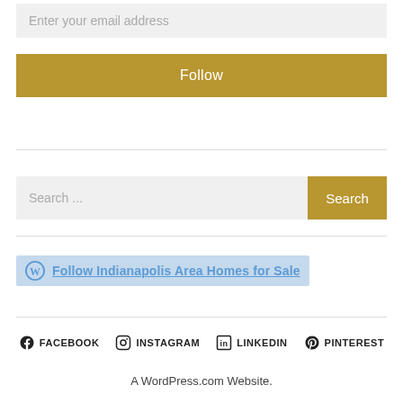Enter your email address
Follow
Search ...
Search
Follow Indianapolis Area Homes for Sale
FACEBOOK
INSTAGRAM
LINKEDIN
PINTEREST
A WordPress.com Website.